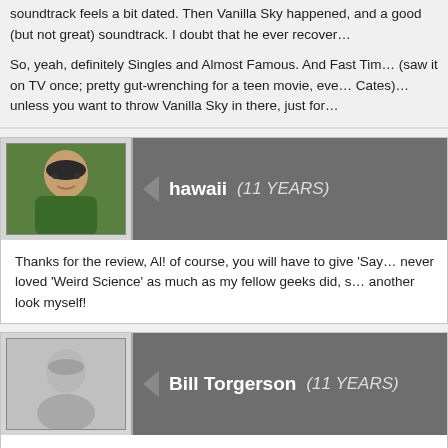soundtrack feels a bit dated. Then Vanilla Sky happened, and a good (but not great) soundtrack. I doubt that he ever recover…
So, yeah, definitely Singles and Almost Famous. And Fast Tim… (saw it on TV once; pretty gut-wrenching for a teen movie, eve… Cates)… unless you want to throw Vanilla Sky in there, just for…
hawaii  (11 YEARS)
Thanks for the review, Al! of course, you will have to give 'Say… never loved 'Weird Science' as much as my fellow geeks did, s… another look myself!
Bill Torgerson  (11 YEARS)
Hughes's Sixteen Candles and The Breakfast Club.Â  How abe… pairing:Â  Honeymoon in Vegas and Leaving Las Vegas.
Mat Weller  (10 YEARS)
Thank you for mentioning that was the soundtrack version, I've…